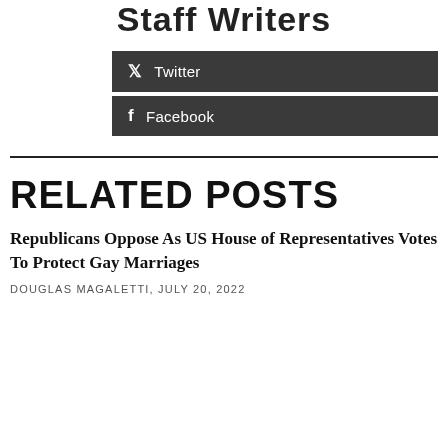Staff Writers
Twitter
Facebook
RELATED POSTS
Republicans Oppose As US House of Representatives Votes To Protect Gay Marriages
DOUGLAS MAGALETTI, JULY 20, 2022